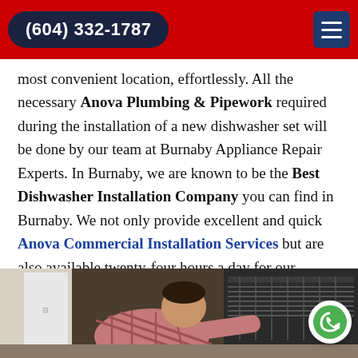(604) 332-1787
most convenient location, effortlessly. All the necessary Anova Plumbing & Pipework required during the installation of a new dishwasher set will be done by our team at Burnaby Appliance Repair Experts. In Burnaby, we are known to be the Best Dishwasher Installation Company you can find in Burnaby. We not only provide excellent and quick Anova Commercial Installation Services but are also available twenty-four hours a day for our customers.
[Figure (photo): A technician/repairman crouching down and working on a dishwasher installation in a kitchen setting. The man is wearing a plaid shirt and leaning into the open dishwasher.]